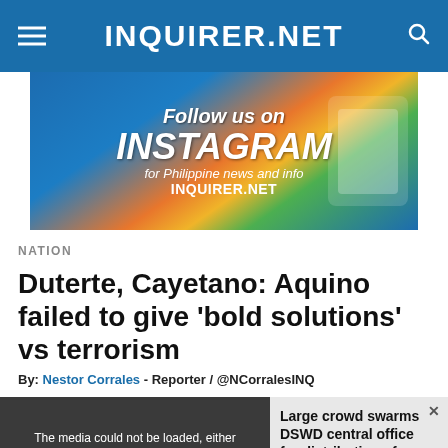INQUIRER.NET
[Figure (infographic): Follow us on Instagram for Philippine news and info — INQUIRER.NET promotional banner]
NATION
Duterte, Cayetano: Aquino failed to give ‘bold solutions’ vs terrorism
By: Nestor Corrales - Reporter / @NCorralesINQ
[Figure (photo): Video media player showing a crowd at DSWD central office for distribution of educational aid. Error message: The media could not be loaded, either because the server or network failed or because the format is not supported. Side panel shows headline: Large crowd swarms DSWD central office for distribution of educational aid.]